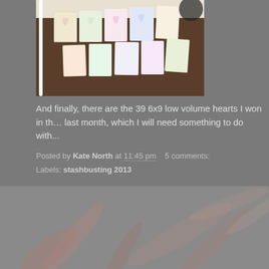[Figure (photo): Photo of multiple origami/quilted heart blocks laid out on a dark wooden floor, with a white cord visible on the left side. The blocks appear to be in light pastel and iridescent fabrics arranged in rows.]
And finally, there are the 39 6x9 low volume hearts I won in th... last month, which I will need something to do with...
Posted by Kate North at 11:45 pm    5 comments:
Labels: stashbusting 2013
Newer Posts
Home
Subscribe to: Posts (Atom)
Theme images b...